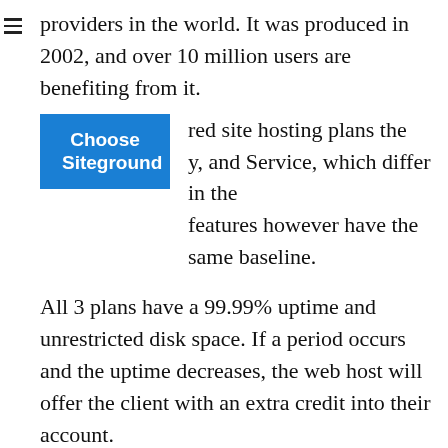providers in the world. It was produced in 2002, and over 10 million users are benefiting from it.
[Figure (other): Blue button with white bold text reading 'Choose Siteground']
red site hosting plans the y, and Service, which differ in the features however have the same baseline.
All 3 plans have a 99.99% uptime and unrestricted disk space. If a period occurs and the uptime decreases, the web host will offer the client with an extra credit into their account.
When it comes to calling domains, the Child and Business strategies have endless domains, while the Hatchling plan has a minimal domain. It has a comprehensive24/7 and exceptional customer